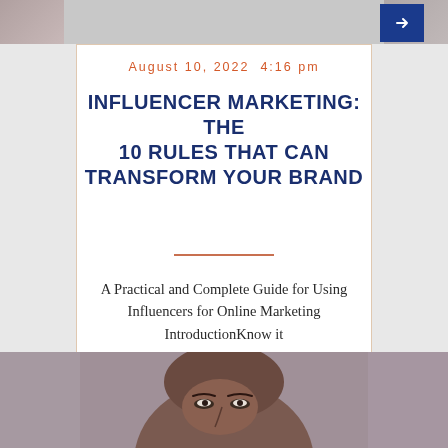August 10, 2022 4:16 pm
INFLUENCER MARKETING: THE 10 RULES THAT CAN TRANSFORM YOUR BRAND
A Practical and Complete Guide for Using Influencers for Online Marketing IntroductionKnow it
[Figure (photo): Close-up photo of a person's face, appearing to be a Black woman, with a blurred background]